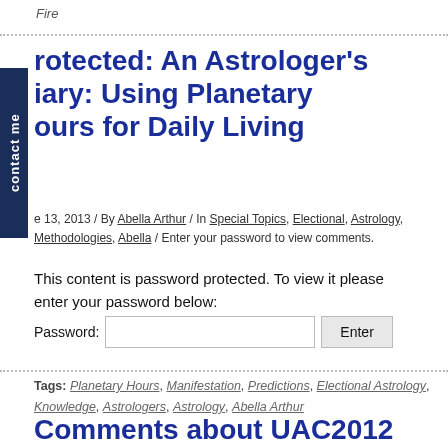Fire
rotected: An Astrologer's iary: Using Planetary ours for Daily Living
e 13, 2013 / By Abella Arthur / In Special Topics, Electional, Astrology, Methodologies, Abella / Enter your password to view comments.
This content is password protected. To view it please enter your password below:
Password: [input] Enter
Tags: Planetary Hours, Manifestation, Predictions, Electional Astrology, Knowledge, Astrologers, Astrology, Abella Arthur
Comments about UAC2012